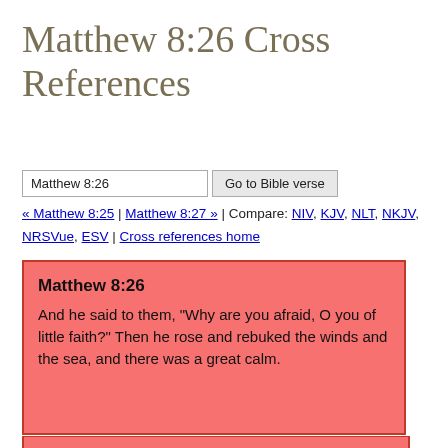Matthew 8:26 Cross References
Matthew 8:26 | Go to Bible verse
« Matthew 8:25 | Matthew 8:27 » | Compare: NIV, KJV, NLT, NKJV, NRSVue, ESV | Cross references home
Matthew 8:26
And he said to them, “Why are you afraid, O you of little faith?” Then he rose and rebuked the winds and the sea, and there was a great calm.